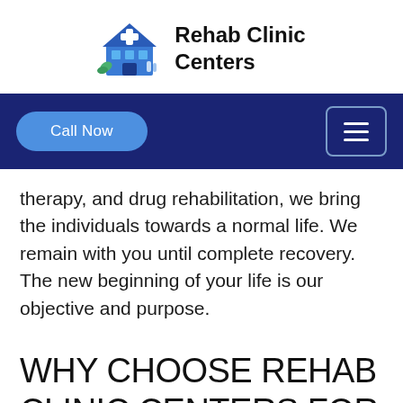Rehab Clinic Centers
therapy, and drug rehabilitation, we bring the individuals towards a normal life. We remain with you until complete recovery. The new beginning of your life is our objective and purpose.
WHY CHOOSE REHAB CLINIC CENTERS FOR DRUG AND ALCOHOL REHAB IN WESTMINSTER?